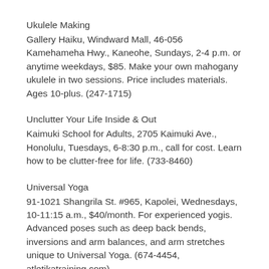Ukulele Making
Gallery Haiku, Windward Mall, 46-056 Kamehameha Hwy., Kaneohe, Sundays, 2-4 p.m. or anytime weekdays, $85. Make your own mahogany ukulele in two sessions. Price includes materials. Ages 10-plus. (247-1715)
Unclutter Your Life Inside & Out
Kaimuki School for Adults, 2705 Kaimuki Ave., Honolulu, Tuesdays, 6-8:30 p.m., call for cost. Learn how to be clutter-free for life. (733-8460)
Universal Yoga
91-1021 Shangrila St. #965, Kapolei, Wednesdays, 10-11:15 a.m., $40/month. For experienced yogis. Advanced poses such as deep back bends, inversions and arm balances, and arm stretches unique to Universal Yoga. (674-4454, atletikatraining.com)